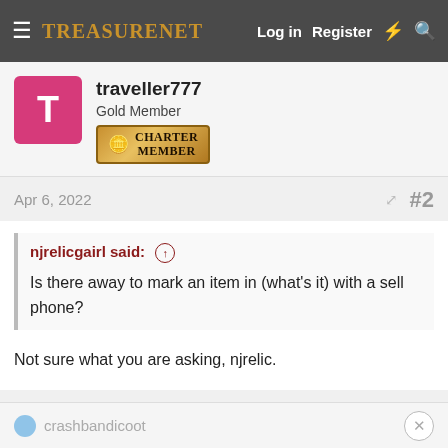TreasureNet  Log in  Register
traveller777
Gold Member
Charter Member
Apr 6, 2022  #2
njrelicgairl said: Is there away to mark an item in (what's it) with a sell phone?
Not sure what you are asking, njrelic.
crashbandicoot